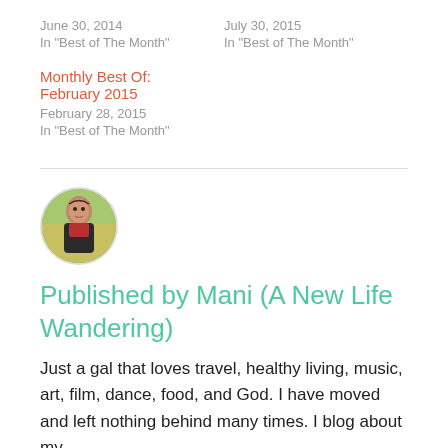June 30, 2014
In "Best of The Month"
July 30, 2015
In "Best of The Month"
Monthly Best Of: February 2015
February 28, 2015
In "Best of The Month"
[Figure (photo): Circular avatar photo of a young woman wearing a red scarf and dark jacket, standing in front of a yellow flower field]
Published by Mani (A New Life Wandering)
Just a gal that loves travel, healthy living, music, art, film, dance, food, and God. I have moved and left nothing behind many times. I blog about my